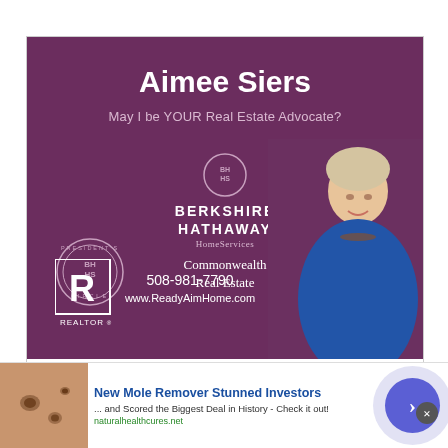[Figure (illustration): Real estate agent advertisement for Aimee Siers. Purple/maroon background with white text showing her name, tagline 'May I be YOUR Real Estate Advocate?', Berkshire Hathaway HomeServices Commonwealth Real Estate logo, President's Circle badge, Realtor R logo, phone number 508-981-7790, website www.ReadyAimHome.com, and a photo of a blonde woman in blue dress on the right side.]
[Figure (photo): Partial view of a second image below the main ad, appears to show a property with blue sky and trees, with script/cursive text overlay.]
[Figure (infographic): Web advertisement banner at bottom: 'New Mole Remover Stunned Investors ... and Scored the Biggest Deal in History - Check it out!' with URL naturalhealthcures.net, skin photo on left, and blue circular arrow button on right.]